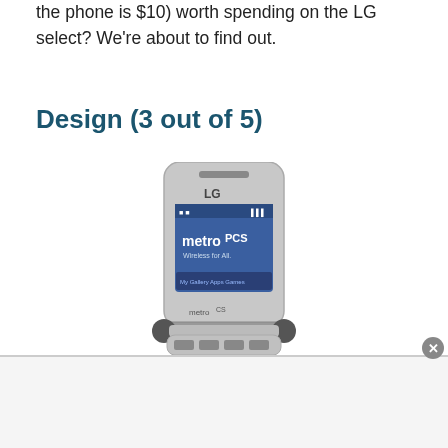the phone is $10) worth spending on the LG select? We're about to find out.
Design (3 out of 5)
[Figure (photo): LG flip phone (MetroPCS branded) shown open with screen displaying MetroPCS logo and branding. The phone is silver/black and photographed at a slight angle against a white background.]
[Figure (other): Advertisement bar at the bottom of the page with a close (x) button in the upper right corner.]